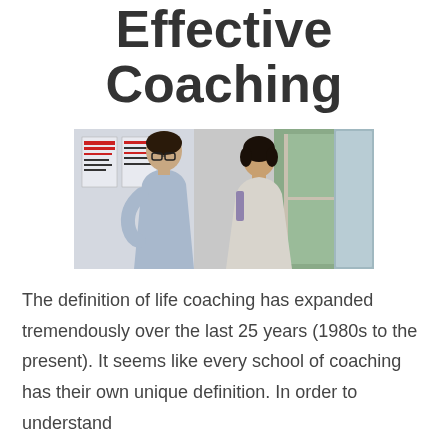Effective Coaching
[Figure (photo): Two people engaged in a coaching conversation indoors; a man with glasses wearing a light blue shirt faces a woman with short dark hair wearing a white top; colorful posters visible in background near a window.]
The definition of life coaching has expanded tremendously over the last 25 years (1980s to the present). It seems like every school of coaching has their own unique definition. In order to understand